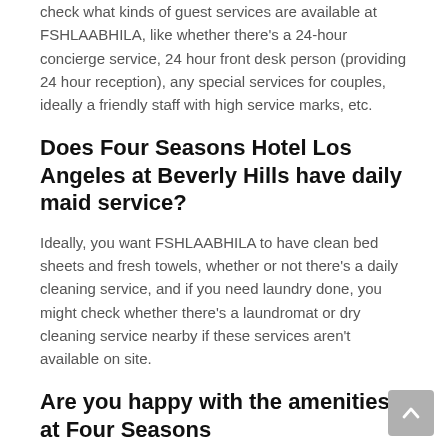check what kinds of guest services are available at FSHLAABHILA, like whether there's a 24-hour concierge service, 24 hour front desk person (providing 24 hour reception), any special services for couples, ideally a friendly staff with high service marks, etc.
Does Four Seasons Hotel Los Angeles at Beverly Hills have daily maid service?
Ideally, you want FSHLAABHILA to have clean bed sheets and fresh towels, whether or not there's a daily cleaning service, and if you need laundry done, you might check whether there's a laundromat or dry cleaning service nearby if these services aren't available on site.
Are you happy with the amenities at Four Seasons